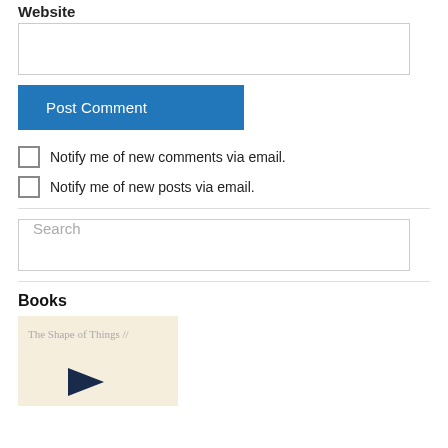Website
[Website input field]
Post Comment
Notify me of new comments via email.
Notify me of new posts via email.
[Search field]
Books
[Figure (illustration): Book cover for 'The Shape of Things //' with beige background and dark arrow graphic]